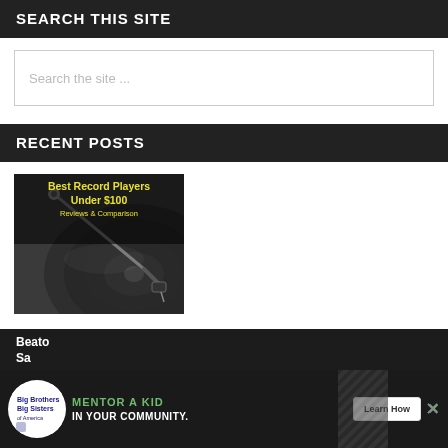SEARCH THIS SITE
Search the site ...
RECENT POSTS
[Figure (photo): Thumbnail image for blog post 'Best Record Players Under $100 – Reviews & Comparison', showing a close-up of a vinyl record player needle/cartridge in black and white, with yellow overlay text.]
[Figure (infographic): Advertisement banner: Big Brothers Big Sisters – MENTOR A KID IN YOUR COMMUNITY. Learn How button. Partially visible at bottom of page.]
Be... ato
Sa...